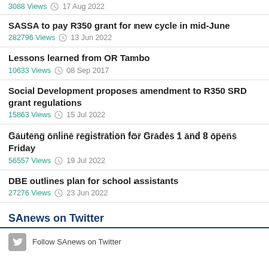3088 Views · 17 Aug 2022
SASSA to pay R350 grant for new cycle in mid-June
282796 Views · 13 Jun 2022
Lessons learned from OR Tambo
10633 Views · 08 Sep 2017
Social Development proposes amendment to R350 SRD grant regulations
15863 Views · 15 Jul 2022
Gauteng online registration for Grades 1 and 8 opens Friday
56557 Views · 19 Jul 2022
DBE outlines plan for school assistants
27276 Views · 23 Jun 2022
SAnews on Twitter
Follow SAnews on Twitter